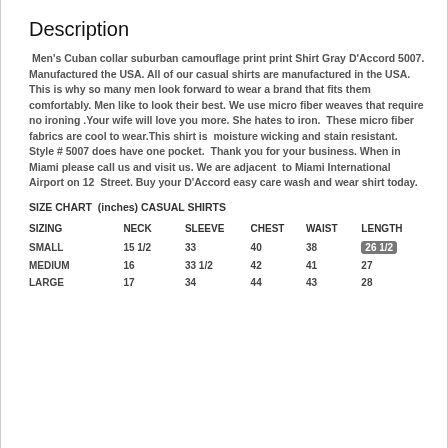Description
Men's Cuban collar suburban camouflage print print Shirt Gray D'Accord 5007. Manufactured the USA. All of our casual shirts are manufactured in the USA.  This is why so many men look forward to wear a brand that fits them comfortably. Men like to look their best. We use micro fiber weaves that require no ironing .Your wife will love you more. She hates to iron.  These micro fiber fabrics are cool to wear.This shirt is  moisture wicking and stain resistant. Style # 5007 does have one pocket.  Thank you for your business. When in Miami please call us and visit us. We are adjacent  to Miami International Airport on 12  Street. Buy your D'Accord easy care wash and wear shirt today.
SIZE CHART  (inches) CASUAL SHIRTS
| SIZING | NECK | SLEEVE | CHEST | WAIST | LENGTH |
| --- | --- | --- | --- | --- | --- |
| SMALL | 15 1/2 | 33 | 40 | 38 | 26 1/2 |
| MEDIUM | 16 | 33 1/2 | 42 | 41 | 27 |
| LARGE | 17 | 34 | 44 | 43 | 28 |